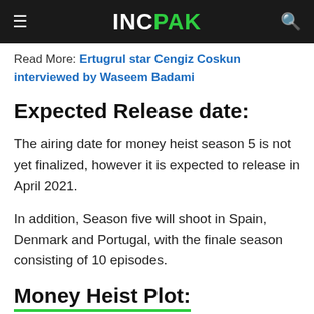INC PAK
Read More: Ertugrul star Cengiz Coskun interviewed by Waseem Badami
Expected Release date:
The airing date for money heist season 5 is not yet finalized, however it is expected to release in April 2021.
In addition, Season five will shoot in Spain, Denmark and Portugal, with the finale season consisting of 10 episodes.
Money Heist Plot: